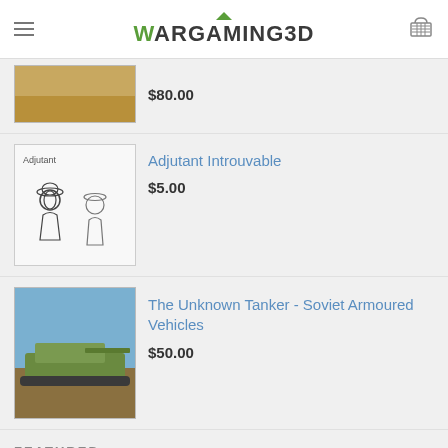WARGAMING3D
$80.00
Adjutant Introuvable
$5.00
The Unknown Tanker - Soviet Armoured Vehicles
$50.00
FEATURED
UH-60A Blackhawk for 15mm
$7.99
Meso-America pack